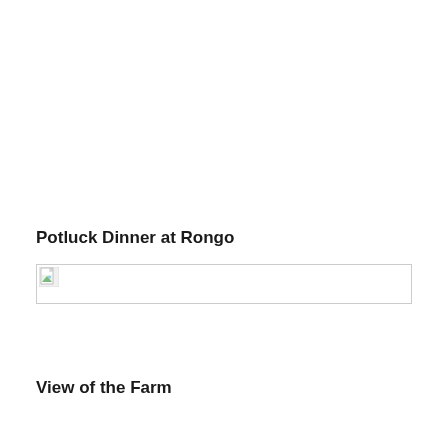Potluck Dinner at Rongo
[Figure (photo): Broken/missing image placeholder with small broken image icon and border]
View of the Farm